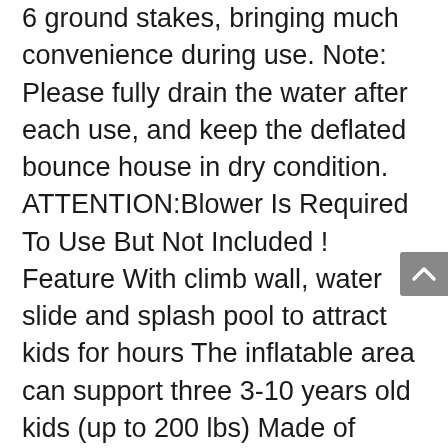6 ground stakes, bringing much convenience during use. Note: Please fully drain the water after each use, and keep the deflated bounce house in dry condition. ATTENTION:Blower Is Required To Use But Not Included ! Feature With climb wall, water slide and splash pool to attract kids for hours The inflatable area can support three 3-10 years old kids (up to 200 lbs) Made of durable oxford cloth that provides a long service life in the outdoors Equipped with mesh walls, slide handrails and buffer platform for safety concerns A carrying bag, a repair kit, a water pipe, and 6 ground stakes are included Hassle-free to set up and take down the bounce house Can be set up in the courtyard, the park or indoor areas Specification Color: As picture shows Material: Oxford Cloth + Mesh Overall Dimensions: 13' x 10' x 8'(L x W x H) Net Weight: 28 lbs Max. Weight Limit of Inflatable Part: